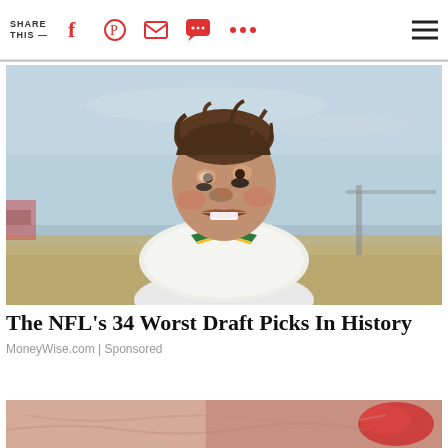SHARE THIS —
[Figure (photo): Young football player in white uniform with green and yellow trim, muddy face with black eye paint, looking intensely to the side, outdoor sports field background with blue sky]
The NFL's 34 Worst Draft Picks In History
MoneyWise.com | Sponsored
[Figure (photo): Partial image visible at bottom of page, appears to show hands or close-up detail with red element]